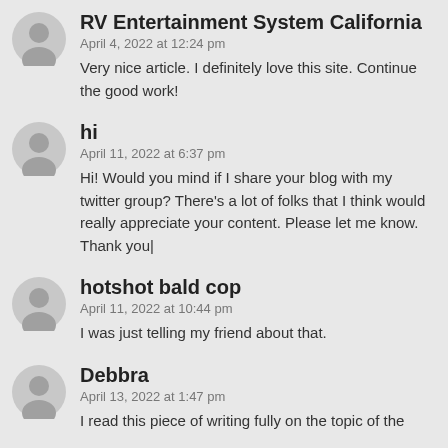RV Entertainment System California
April 4, 2022 at 12:24 pm
Very nice article. I definitely love this site. Continue the good work!
hi
April 11, 2022 at 6:37 pm
Hi! Would you mind if I share your blog with my twitter group? There's a lot of folks that I think would really appreciate your content. Please let me know. Thank you|
hotshot bald cop
April 11, 2022 at 10:44 pm
I was just telling my friend about that.
Debbra
April 13, 2022 at 1:47 pm
I read this piece of writing fully on the topic of the